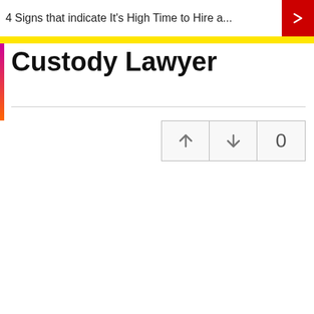4 Signs that indicate It's High Time to Hire a...
Custody Lawyer
[Figure (other): Vote widget with up arrow, down arrow, and count of 0]